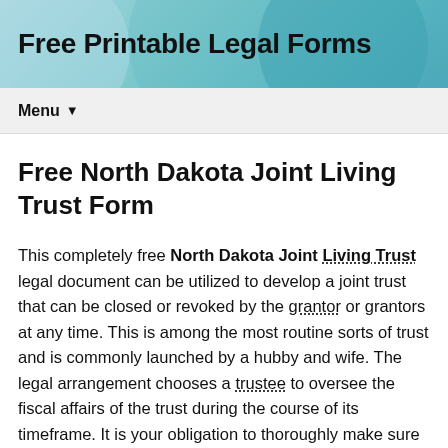Free Printable Legal Forms
Menu
Free North Dakota Joint Living Trust Form
This completely free North Dakota Joint Living Trust legal document can be utilized to develop a joint trust that can be closed or revoked by the grantor or grantors at any time. This is among the most routine sorts of trust and is commonly launched by a hubby and wife. The legal arrangement chooses a trustee to oversee the fiscal affairs of the trust during the course of its timeframe. It is your obligation to thoroughly make sure and study the legal document that the North Dakota Joint Living Trust legal contract provides conditions for whatever you would